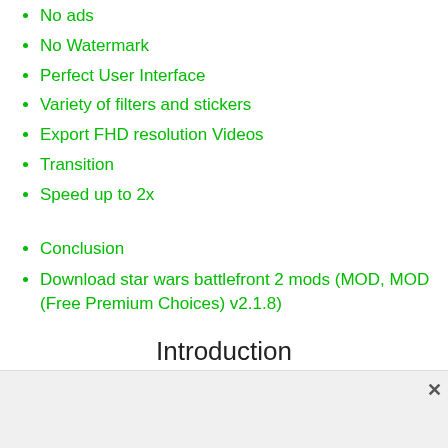No ads
No Watermark
Perfect User Interface
Variety of filters and stickers
Export FHD resolution Videos
Transition
Speed up to 2x
Conclusion
Download star wars battlefront 2 mods (MOD, MOD (Free Premium Choices) v2.1.8)
Introduction